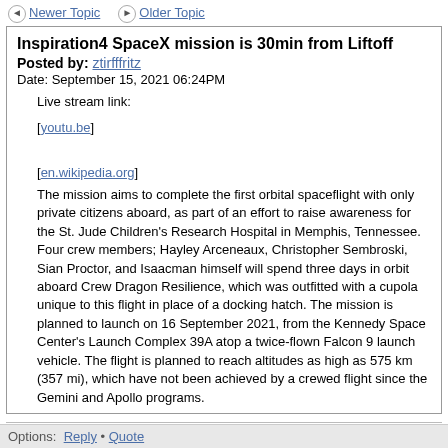◄ Newer Topic   ► Older Topic
Inspiration4 SpaceX mission is 30min from Liftoff
Posted by: ztirfffritz
Date: September 15, 2021 06:24PM
Live stream link:

[youtu.be]

[en.wikipedia.org]
The mission aims to complete the first orbital spaceflight with only private citizens aboard, as part of an effort to raise awareness for the St. Jude Children's Research Hospital in Memphis, Tennessee. Four crew members; Hayley Arceneaux, Christopher Sembroski, Sian Proctor, and Isaacman himself will spend three days in orbit aboard Crew Dragon Resilience, which was outfitted with a cupola unique to this flight in place of a docking hatch. The mission is planned to launch on 16 September 2021, from the Kennedy Space Center's Launch Complex 39A atop a twice-flown Falcon 9 launch vehicle. The flight is planned to reach altitudes as high as 575 km (357 mi), which have not been achieved by a crewed flight since the Gemini and Apollo programs.
****************************************
MacResource User Map: [www.zeemaps.com]#
Options:  Reply • Quote